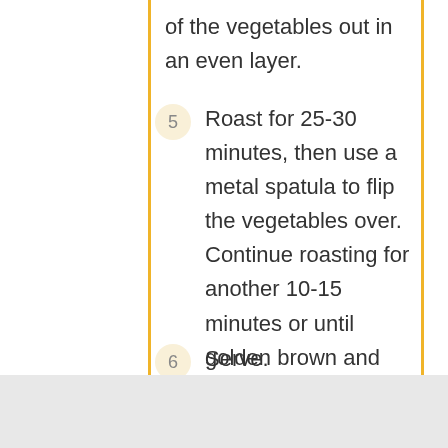of the vegetables out in an even layer.
5  Roast for 25-30 minutes, then use a metal spatula to flip the vegetables over. Continue roasting for another 10-15 minutes or until golden brown and fragrant.
6  Serve.